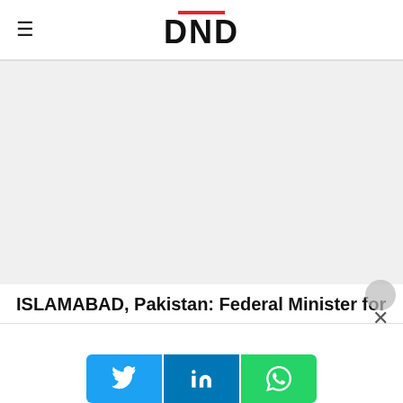DND
[Figure (other): Gray advertisement placeholder area]
ISLAMABAD, Pakistan: Federal Minister for
[Figure (other): Social share buttons: Twitter, LinkedIn, WhatsApp]